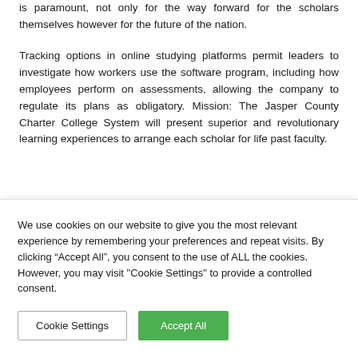is paramount, not only for the way forward for the scholars themselves however for the future of the nation.
Tracking options in online studying platforms permit leaders to investigate how workers use the software program, including how employees perform on assessments, allowing the company to regulate its plans as obligatory. Mission: The Jasper County Charter College System will present superior and revolutionary learning experiences to arrange each scholar for life past faculty.
We use cookies on our website to give you the most relevant experience by remembering your preferences and repeat visits. By clicking “Accept All”, you consent to the use of ALL the cookies. However, you may visit "Cookie Settings" to provide a controlled consent.